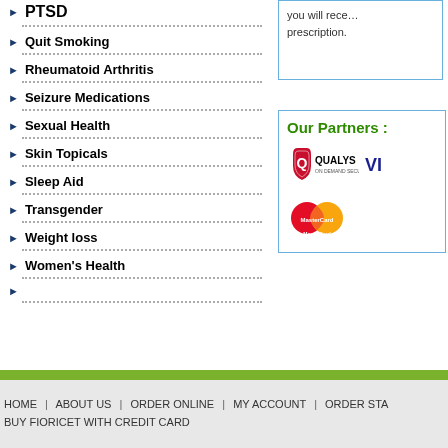PTSD
Quit Smoking
Rheumatoid Arthritis
Seizure Medications
Sexual Health
Skin Topicals
Sleep Aid
Transgender
Weight loss
Women's Health
you will receive prescription.
Our Partners :
[Figure (logo): Qualys On Demand Security logo]
[Figure (logo): Visa logo (partial)]
[Figure (logo): MasterCard logo]
HOME | ABOUT US | ORDER ONLINE | MY ACCOUNT | ORDER STA... BUY FIORICET WITH CREDIT CARD